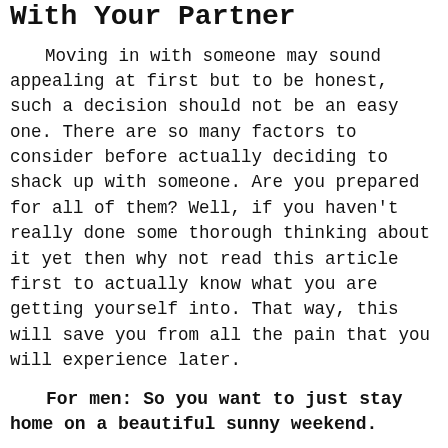With Your Partner
Moving in with someone may sound appealing at first but to be honest, such a decision should not be an easy one. There are so many factors to consider before actually deciding to shack up with someone. Are you prepared for all of them? Well, if you haven't really done some thorough thinking about it yet then why not read this article first to actually know what you are getting yourself into. That way, this will save you from all the pain that you will experience later.
For men: So you want to just stay home on a beautiful sunny weekend.
You want to play some computer games or perhaps watch some sports games but then, you